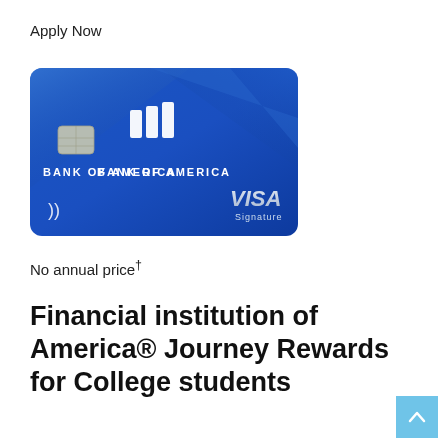Apply Now
[Figure (photo): Bank of America Visa Signature credit card — blue card with EMV chip, contactless payment symbol, Bank of America logo and wordmark, and Visa Signature logo]
No annual price†
Financial institution of America® Journey Rewards for College students
Be in stu...